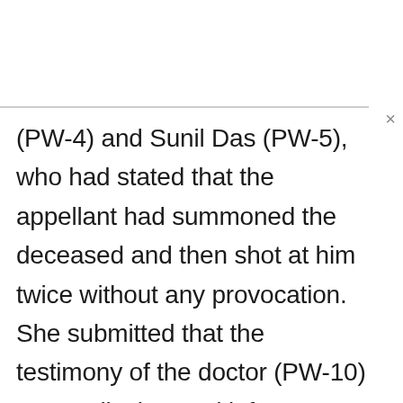(PW-4) and Sunil Das (PW-5), who had stated that the appellant had summoned the deceased and then shot at him twice without any provocation. She submitted that the testimony of the doctor (PW-10) was a clincher and left no manner of doubt that the appellant had made the deceased to kneel down and thereafter fired two shots directly at him, causing